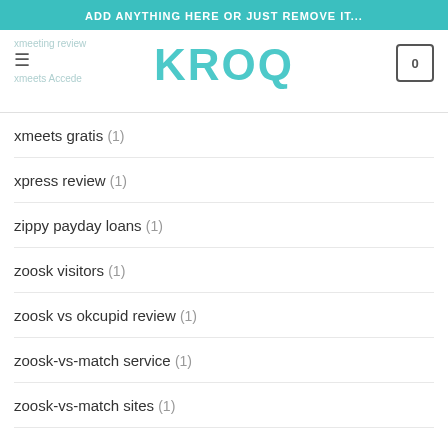ADD ANYTHING HERE OR JUST REMOVE IT...
[Figure (logo): KROQ logo in teal/cyan color]
xmeets gratis (1)
xpress review (1)
zippy payday loans (1)
zoosk visitors (1)
zoosk vs okcupid review (1)
zoosk-vs-match service (1)
zoosk-vs-match sites (1)
ARCHIVES